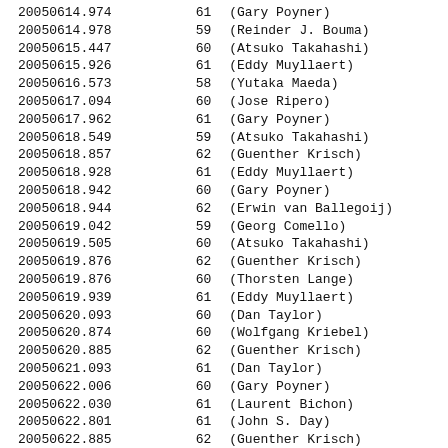| 20050614.974 | 61 | (Gary Poyner) |
| 20050614.978 | 59 | (Reinder J. Bouma) |
| 20050615.447 | 60 | (Atsuko Takahashi) |
| 20050615.926 | 61 | (Eddy Muyllaert) |
| 20050616.573 | 58 | (Yutaka Maeda) |
| 20050617.094 | 60 | (Jose Ripero) |
| 20050617.962 | 61 | (Gary Poyner) |
| 20050618.549 | 59 | (Atsuko Takahashi) |
| 20050618.857 | 62 | (Guenther Krisch) |
| 20050618.928 | 61 | (Eddy Muyllaert) |
| 20050618.942 | 60 | (Gary Poyner) |
| 20050618.944 | 62 | (Erwin van Ballegoij) |
| 20050619.042 | 59 | (Georg Comello) |
| 20050619.505 | 60 | (Atsuko Takahashi) |
| 20050619.876 | 62 | (Guenther Krisch) |
| 20050619.876 | 60 | (Thorsten Lange) |
| 20050619.939 | 61 | (Eddy Muyllaert) |
| 20050620.093 | 60 | (Dan Taylor) |
| 20050620.874 | 60 | (Wolfgang Kriebel) |
| 20050620.885 | 62 | (Guenther Krisch) |
| 20050621.093 | 61 | (Dan Taylor) |
| 20050622.006 | 60 | (Gary Poyner) |
| 20050622.030 | 61 | (Laurent Bichon) |
| 20050622.801 | 61 | (John S. Day) |
| 20050622.885 | 62 | (Guenther Krisch) |
| 20050622.922 | 59 | (Georg Comello) |
| 20050622.931 | 61 | (Eddy Muyllaert) |
| 20050622.936 | 62 | (Erwin van Ballegoij) |
| 20050622.949 | 61 | (Gary Poyner) |
| 20050623.097 | 60 | (Dan Taylor) |